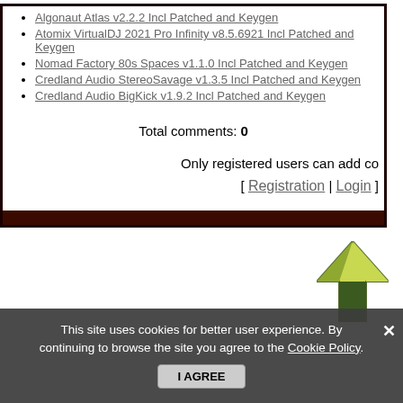Algonaut Atlas v2.2.2 Incl Patched and Keygen
Atomix VirtualDJ 2021 Pro Infinity v8.5.6921 Incl Patched and Keygen
Nomad Factory 80s Spaces v1.1.0 Incl Patched and Keygen
Credland Audio StereoSavage v1.3.5 Incl Patched and Keygen
Credland Audio BigKick v1.9.2 Incl Patched and Keygen
Total comments: 0
Only registered users can add comments. [ Registration | Login ]
This site uses cookies for better user experience. By continuing to browse the site you agree to the Cookie Policy.
I AGREE